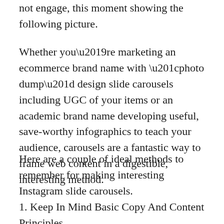not engage, this moment showing the following picture.
Whether you’re marketing an ecommerce brand name with “photo dump” design slide carousels including UGC of your items or an academic brand name developing useful, save-worthy infographics to teach your audience, carousels are a fantastic way to frame web content in a digestible, interesting method.
Here are a couple of ideal methods to remember for making interesting Instagram slide carousels.
1. Keep In Mind Basic Copy And Content Principles